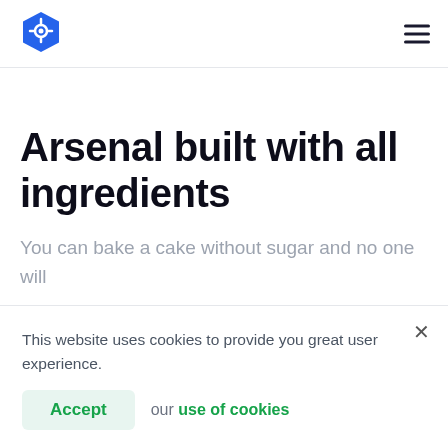[Figure (logo): Blue hexagon-shaped logo icon with a circuit/lock symbol inside]
Arsenal built with all ingredients
You can bake a cake without sugar and no one will
This website uses cookies to provide you great user experience.
Accept our use of cookies